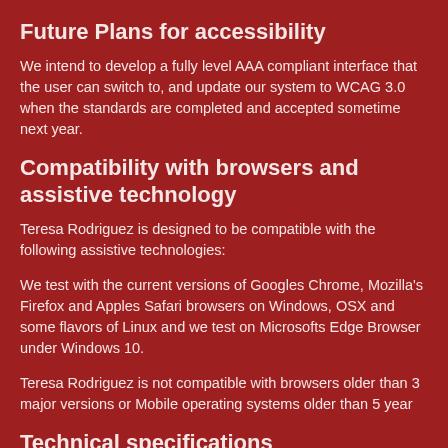Future Plans for accessibility
We intend to develop a fully level AAA compliant interface that the user can switch to, and update our system to WCAG 3.0 when the standards are completed and accepted sometime next year.
Compatibility with browsers and assistive technology
Teresa Rodriguez is designed to be compatible with the following assistive technologies:
We test with the current versions of Googles Chrome, Mozilla's Firefox and Apples Safari browsers on Windows, OSX and some flavors of Linux and we test on Microsofts Edge Browser under Windows 10.
Teresa Rodriguez is not compatible with browsers older than 3 major versions or Mobile operating systems older than 5 year
Technical specifications